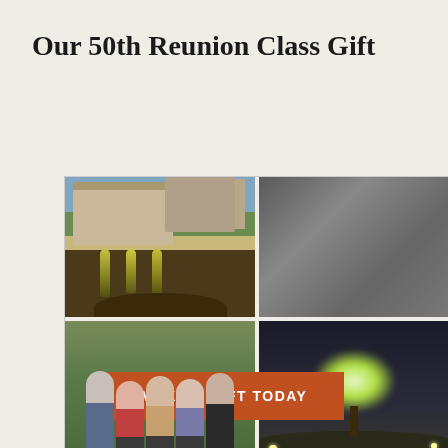Our 50th Reunion Class Gift
[Figure (photo): Four-photo collage: top-left shows a campus garden with young ginkgo trees and a building; top-right shows a bronze dedication plaque reading 'These ginkgo trees and garden were donated by the Class of 1974 in celebration of their 50th reunion'; bottom-left shows a group of five people (one man and four women) posing together at an indoor event; bottom-right shows an illuminated tree at night.]
MAKE A GIFT TODAY